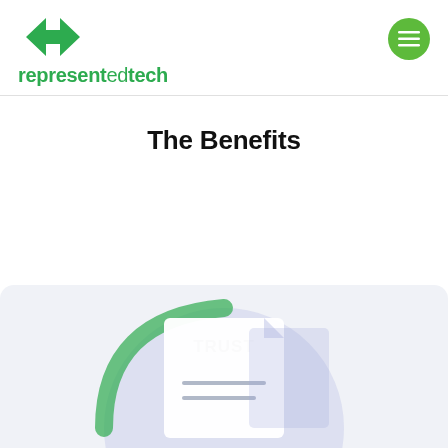[Figure (logo): representedtech logo with green double-arrow icon and green text 'representedtech']
The Benefits
TRUST
[Figure (illustration): Illustration of a document/certificate with lines on it, set against a circular background with light blue and green arcs, representing trust.]